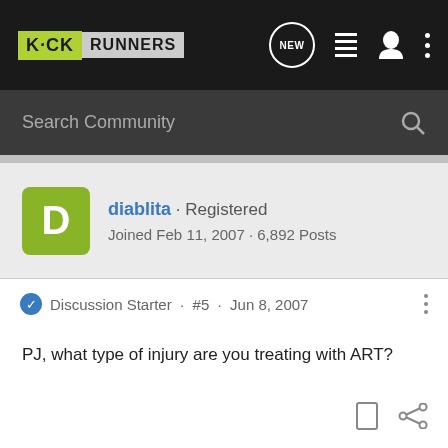KICK RUNNERS
Search Community
diablita · Registered
Joined Feb 11, 2007 · 6,892 Posts
Discussion Starter · #5 · Jun 8, 2007
⁠PJ, what type of injury are you treating with ART?